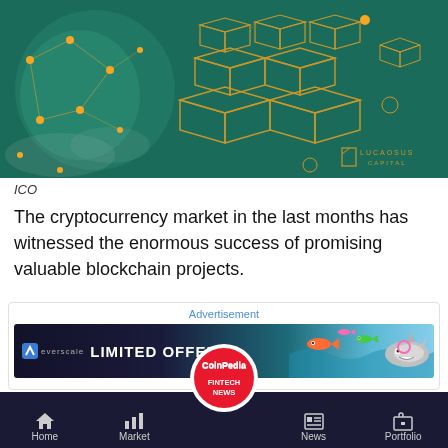[Figure (illustration): Dark teal/green background with golden 3D blockchain cube network diagram and world map node network on left side. Lucrosus Capital logo in bottom right corner.]
ICO
The cryptocurrency market in the last months has witnessed the enormous success of promising valuable blockchain projects.
[Figure (infographic): Advertisement banner: Overscale LIMITED OFFER! with colorful fish and shark graphics on blue background.]
[Figure (logo): CoinPedia Fintech News circular badge logo in red and white.]
Home  Market  News  Portfolio